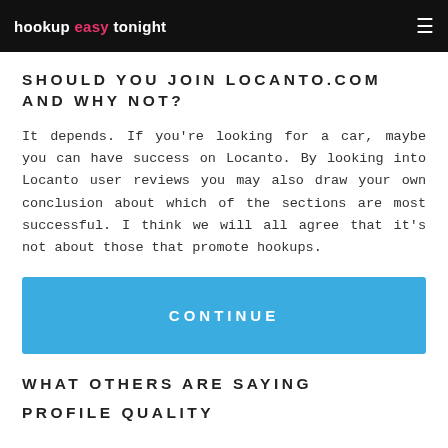hookup easy tonight
SHOULD YOU JOIN LOCANTO.COM AND WHY NOT?
It depends. If you're looking for a car, maybe you can have success on Locanto. By looking into Locanto user reviews you may also draw your own conclusion about which of the sections are most successful. I think we will all agree that it's not about those that promote hookups.
[Figure (other): Blue CONTINUE button/call-to-action banner]
WHAT OTHERS ARE SAYING
PROFILE QUALITY